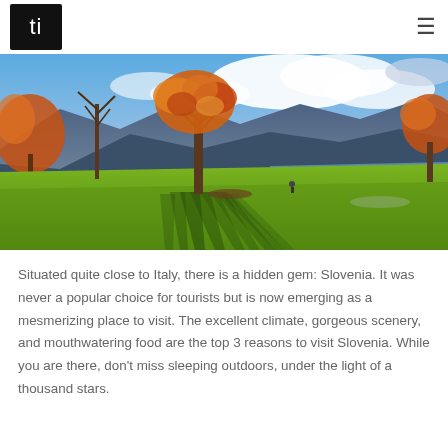ti [logo] | hamburger menu
[Figure (photo): Scenic autumn landscape in Slovenia showing a large tree with orange and red foliage casting long shadows on a bright green meadow beside a calm lake, with mountains and dramatic cloudy blue sky in the background. A lone figure stands near the lake.]
Situated quite close to Italy, there is a hidden gem: Slovenia. It was never a popular choice for tourists but is now emerging as a mesmerizing place to visit. The excellent climate, gorgeous scenery, and mouthwatering food are the top 3 reasons to visit Slovenia. While you are there, don't miss sleeping outdoors, under the light of a thousand stars.